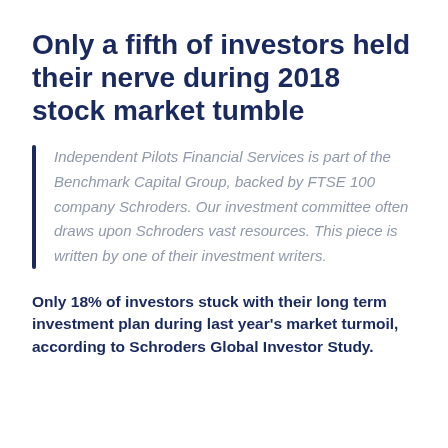Only a fifth of investors held their nerve during 2018 stock market tumble
Independent Pilots Financial Services is part of the Benchmark Capital Group, backed by FTSE 100 company Schroders. Our investment committee often draws upon Schroders vast resources. This piece is written by one of their investment writers.
Only 18% of investors stuck with their long term investment plan during last year's market turmoil, according to Schroders Global Investor Study.